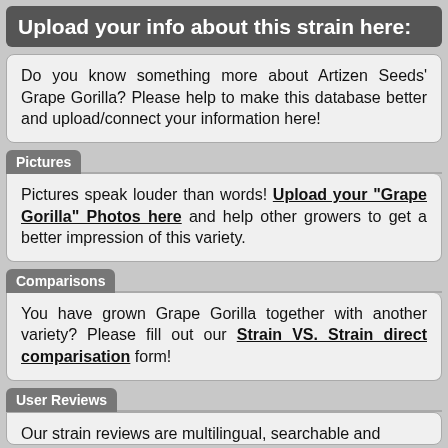Upload your info about this strain here:
Do you know something more about Artizen Seeds' Grape Gorilla? Please help to make this database better and upload/connect your information here!
Pictures
Pictures speak louder than words! Upload your "Grape Gorilla" Photos here and help other growers to get a better impression of this variety.
Comparisons
You have grown Grape Gorilla together with another variety? Please fill out our Strain VS. Strain direct comparisation form!
User Reviews
Our strain reviews are multilingual, searchable and